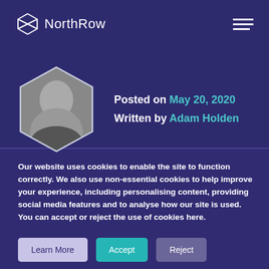[Figure (logo): NorthRow logo with geometric diamond/cross icon and wordmark in white on dark purple background]
[Figure (photo): Hexagonal portrait photo of Adam Holden, a bald man in a suit, black and white photo in a geometric hexagon frame]
Posted on May 20, 2020
Written by Adam Holden
Our website uses cookies to enable the site to function correctly. We also use non-essential cookies to help improve your experience, including personalising content, providing social media features and to analyse how our site is used. You can accept or reject the use of cookies here.